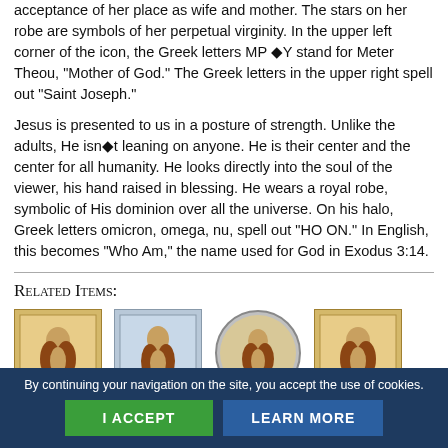acceptance of her place as wife and mother. The stars on her robe are symbols of her perpetual virginity. In the upper left corner of the icon, the Greek letters MP ΘY stand for Meter Theou, "Mother of God." The Greek letters in the upper right spell out "Saint Joseph."
Jesus is presented to us in a posture of strength. Unlike the adults, He isn't leaning on anyone. He is their center and the center for all humanity. He looks directly into the soul of the viewer, his hand raised in blessing. He wears a royal robe, symbolic of His dominion over all the universe. On his halo, Greek letters omicron, omega, nu, spell out "HO ON." In English, this becomes "Who Am," the name used for God in Exodus 3:14.
Related Items:
[Figure (photo): Icon image 1 - religious icon of Holy Family]
[Figure (photo): Icon image 2 - religious icon of Holy Family]
[Figure (photo): Icon image 3 - round religious icon of Holy Family]
[Figure (photo): Icon image 4 - religious icon of Holy Family]
By continuing your navigation on the site, you accept the use of cookies.
I ACCEPT   LEARN MORE